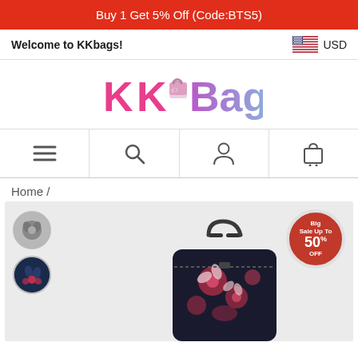Buy 1 Get 5% Off (Code:BTS5)
Welcome to KKbags!
USD
[Figure (logo): KKBags logo with pink and blue gradient text]
[Figure (infographic): Navigation bar with menu (hamburger), search, account, and shopping bag icons]
Home /
[Figure (photo): Product page showing a floral dark backpack with Big Sale Up To 50% Off badge and two circular thumbnail images on the left]